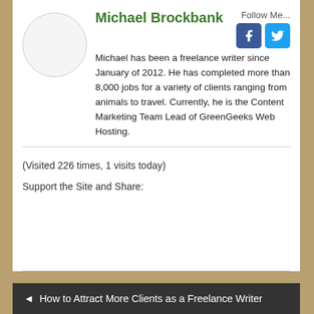Michael Brockbank
Follow Me...
Michael has been a freelance writer since January of 2012. He has completed more than 8,000 jobs for a variety of clients ranging from animals to travel. Currently, he is the Content Marketing Team Lead of GreenGeeks Web Hosting.
(Visited 226 times, 1 visits today)
Support the Site and Share:
◄ How to Attract More Clients as a Freelance Writer